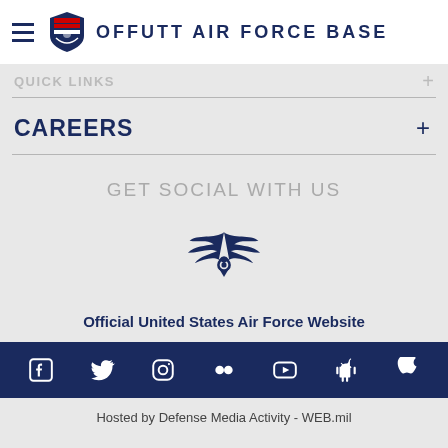OFFUTT AIR FORCE BASE
QUICK LINKS
CAREERS
GET SOCIAL WITH US
[Figure (logo): United States Air Force logo - stylized eagle wings with star emblem in navy blue]
Official United States Air Force Website
Hosted by Defense Media Activity - WEB.mil